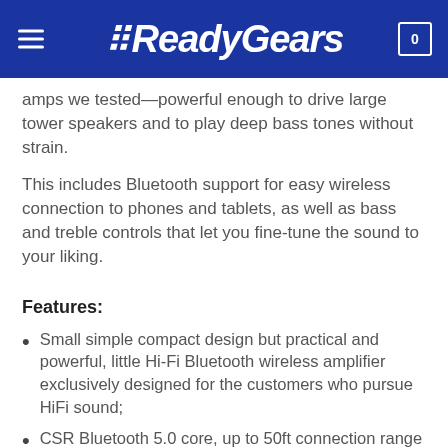ReadyGears
amps we tested—powerful enough to drive large tower speakers and to play deep bass tones without strain.
This includes Bluetooth support for easy wireless connection to phones and tablets, as well as bass and treble controls that let you fine-tune the sound to your liking.
Features:
Small simple compact design but practical and powerful, little Hi-Fi Bluetooth wireless amplifier exclusively designed for the customers who pursue HiFi sound;
CSR Bluetooth 5.0 core, up to 50ft connection range guarantees low signal delay. No pop, no audible noise